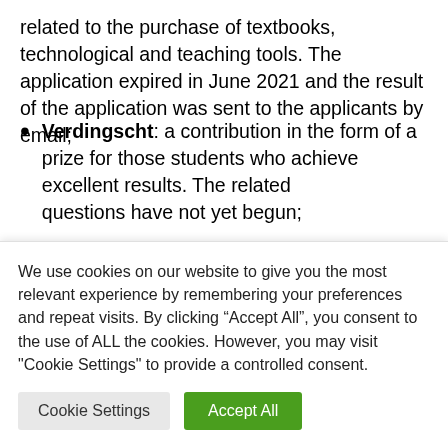related to the purchase of textbooks, technological and teaching tools. The application expired in June 2021 and the result of the application was sent to the applicants by email;
Verdingscht: a contribution in the form of a prize for those students who achieve excellent results. The related questions have not yet begun;
We use cookies on our website to give you the most relevant experience by remembering your preferences and repeat visits. By clicking “Accept All”, you consent to the use of ALL the cookies. However, you may visit "Cookie Settings" to provide a controlled consent.